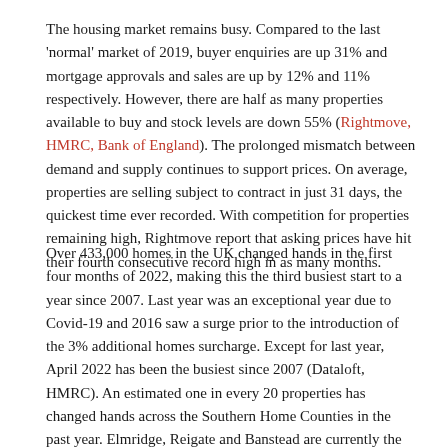The housing market remains busy. Compared to the last 'normal' market of 2019, buyer enquiries are up 31% and mortgage approvals and sales are up by 12% and 11% respectively. However, there are half as many properties available to buy and stock levels are down 55% (Rightmove, HMRC, Bank of England). The prolonged mismatch between demand and supply continues to support prices. On average, properties are selling subject to contract in just 31 days, the quickest time ever recorded. With competition for properties remaining high, Rightmove report that asking prices have hit their fourth consecutive record high in as many months.
Over 433,000 homes in the UK changed hands in the first four months of 2022, making this the third busiest start to a year since 2007. Last year was an exceptional year due to Covid-19 and 2016 saw a surge prior to the introduction of the 3% additional homes surcharge. Except for last year, April 2022 has been the busiest since 2007 (Dataloft, HMRC). An estimated one in every 20 properties has changed hands across the Southern Home Counties in the past year. Elmridge, Reigate and Banstead are currently the most active housing markets in the region.